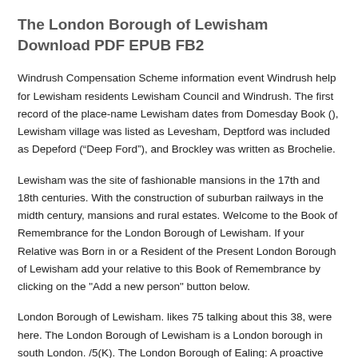The London Borough of Lewisham Download PDF EPUB FB2
Windrush Compensation Scheme information event Windrush help for Lewisham residents Lewisham Council and Windrush. The first record of the place-name Lewisham dates from Domesday Book (), Lewisham village was listed as Levesham, Deptford was included as Depeford (“Deep Ford”), and Brockley was written as Brochelie.
Lewisham was the site of fashionable mansions in the 17th and 18th centuries. With the construction of suburban railways in the midth century, mansions and rural estates. Welcome to the Book of Remembrance for the London Borough of Lewisham. If your Relative was Born in or a Resident of the Present London Borough of Lewisham add your relative to this Book of Remembrance by clicking on the "Add a new person" button below.
London Borough of Lewisham. likes 75 talking about this 38, were here. The London Borough of Lewisham is a London borough in south London. /5(K). The London Borough of Ealing: A proactive planning